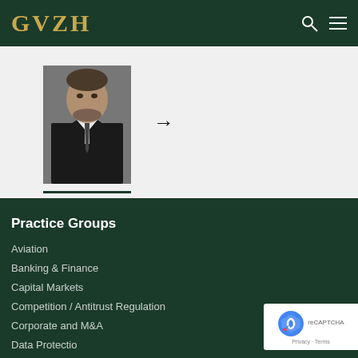GVZH
[Figure (photo): Portrait photo of a man in a dark suit and tie, with a dark green underline beneath the photo]
Practice Groups
Aviation
Banking & Finance
Capital Markets
Competition / Antitrust Regulation
Corporate and M&A
Data Protection